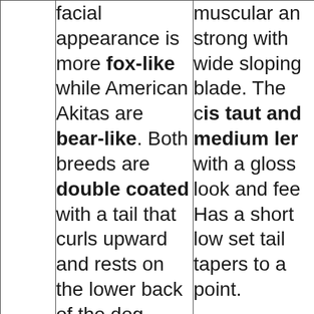|  | facial appearance is more fox-like while American Akitas are bear-like. Both breeds are double coated with a tail that curls upward and rests on the lower back of the dog. | muscular and strong with wide sloping shoulder blade. The coat is taut and medium length with a glossy look and feel. Has a short low set tail that tapers to a point. |